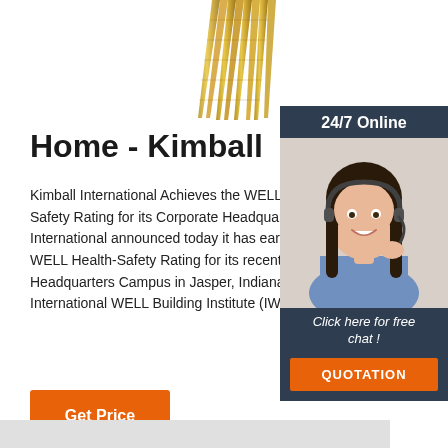[Figure (photo): Screws/fasteners image at top center of the page, metallic gold/brass colored screws pointing downward]
Home - Kimball
Kimball International Achieves the WELL He Safety Rating for its Corporate Headquarters International announced today it has earned WELL Health-Safety Rating for its recently re Headquarters Campus in Jasper, Indiana, th International WELL Building Institute (IWBI™
[Figure (photo): Customer service representative woman with headset, smiling, in a sidebar panel with dark blue-gray background. Panel includes '24/7 Online' header, 'Click here for free chat!' text, and 'QUOTATION' orange button.]
Get Price